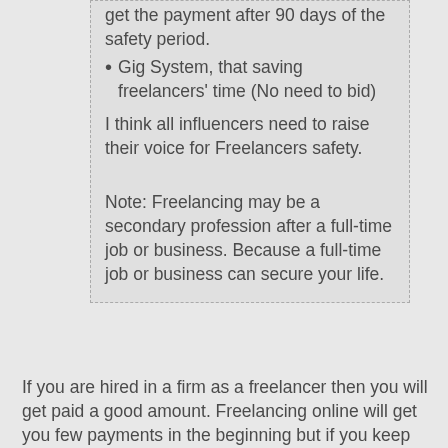get the payment after 90 days of the safety period.
Gig System, that saving freelancers' time (No need to bid)
I think all influencers need to raise their voice for Freelancers safety.
Note: Freelancing may be a secondary profession after a full-time job or business. Because a full-time job or business can secure your life.
If you are hired in a firm as a freelancer then you will get paid a good amount. Freelancing online will get you few payments in the beginning but if you keep